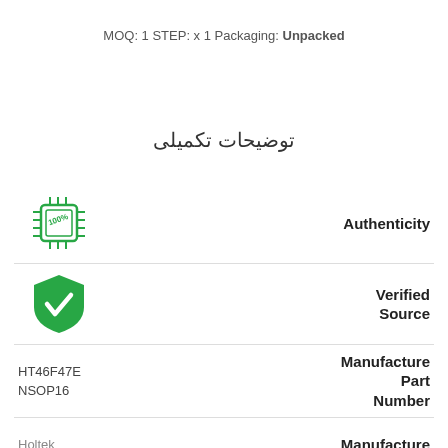MOQ: 1 STEP: x 1 Packaging: Unpacked
توضیحات تکمیلی
| Value | Field |
| --- | --- |
| [icon: 100% chip] | Authenticity |
| [icon: verified shield] | Verified Source |
| HT46F47E NSOP16 | Manufacture Part Number |
| Holtek | Manufacture |
| 1 | MOQ (pcs) |
| Unpacked | Packaging |